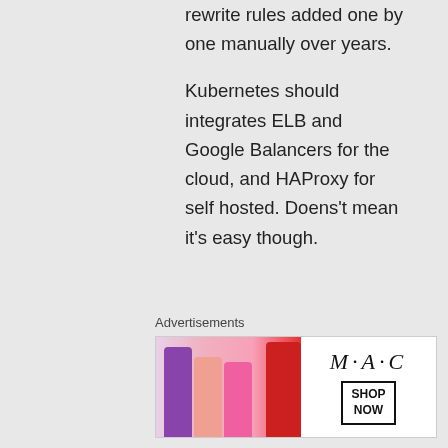rewrite rules added one by one manually over years.

Kubernetes should integrates ELB and Google Balancers for the cloud, and HAProxy for self hosted. Doens't mean it's easy though.
★ Liked by 1 person
Advertisements
[Figure (photo): MAC cosmetics advertisement banner showing colorful lipsticks and MAC logo with SHOP NOW button]